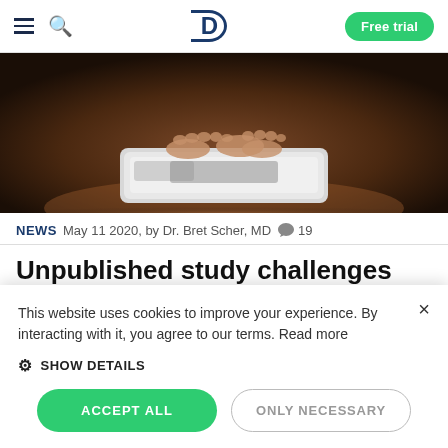Diet Doctor — Free trial
[Figure (photo): Close-up photo of a person's feet on a white bathroom scale, on a dark wooden floor]
NEWS  May 11 2020, by Dr. Bret Scher, MD  💬 19
Unpublished study challenges the insulin model of obesity
This website uses cookies to improve your experience. By interacting with it, you agree to our terms. Read more
⚙ SHOW DETAILS
ACCEPT ALL   ONLY NECESSARY